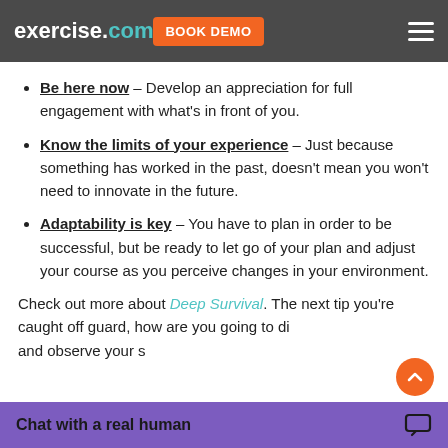exercise.com BOOK DEMO
Be here now – Develop an appreciation for full engagement with what's in front of you.
Know the limits of your experience – Just because something has worked in the past, doesn't mean you won't need to innovate in the future.
Adaptability is key – You have to plan in order to be successful, but be ready to let go of your plan and adjust your course as you perceive changes in your environment.
Check out more about Deep Survival. The next tip you're caught off guard, how are you going to di and observe your s
Chat with a real human